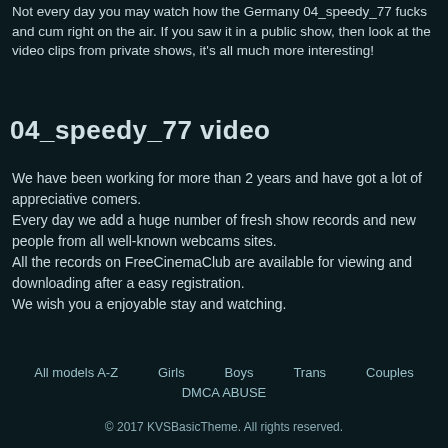Not every day you may watch how the Germany 04_speedy_77 fucks and cum right on the air. If you saw it in a public show, then look at the video clips from private shows, it's all much more interesting!
04_speedy_77 video
We have been working for more than 2 years and have got a lot of appreciative comers.
Every day we add a huge number of fresh show records and new people from all well-known webcams sites.
All the records on FreeCinemaClub are available for viewing and downloading after a easy registration.
We wish you a enjoyable stay and watching.
All models A-Z   Girls   Boys   Trans   Couples   DMCA ABUSE   © 2017 KVSBasicTheme. All rights reserved.